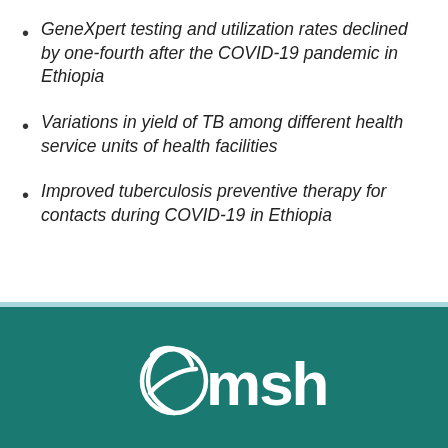GeneXpert testing and utilization rates declined by one-fourth after the COVID-19 pandemic in Ethiopia
Variations in yield of TB among different health service units of health facilities
Improved tuberculosis preventive therapy for contacts during COVID-19 in Ethiopia
[Figure (logo): MSH (Management Sciences for Health) logo in white on teal background]